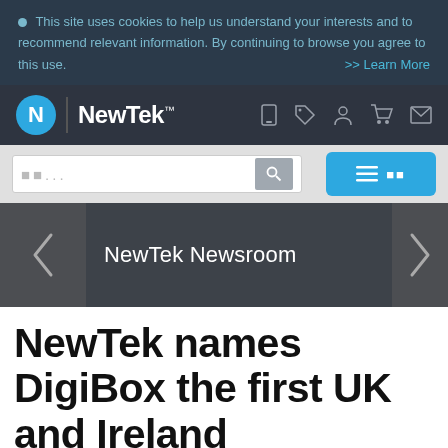This site uses cookies to help us understand your interests and to recommend relevant information. By continuing to browse you agree to this use.  >> Learn More
[Figure (logo): NewTek logo with N icon and NewTek™ wordmark on dark navy background, with navigation icons (search, tag, user, cart, mail)]
[Figure (screenshot): Search bar with placeholder text and search button, plus blue menu button with hamburger icon]
NewTek Newsroom
NewTek names DigiBox the first UK and Ireland distributor